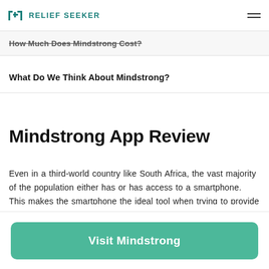RELIEF SEEKER
How Much Does Mindstrong Cost?
What Do We Think About Mindstrong?
Mindstrong App Review
Even in a third-world country like South Africa, the vast majority of the population either has or has access to a smartphone. This makes the smartphone the ideal tool when trying to provide mental healthcare to the masses. This is why the brains behind Mindstrong opted to develop an app that offers neuropsychiatric healthcare software capable of
Visit Mindstrong